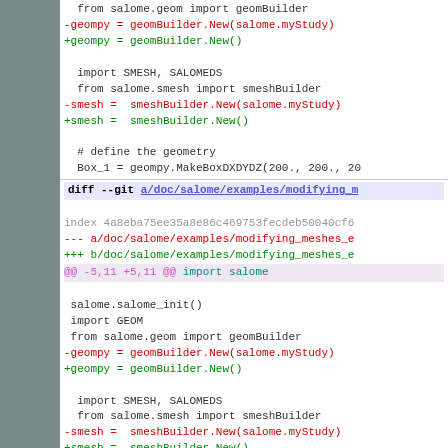from salome.geom import geomBuilder
-geompy = geomBuilder.New(salome.myStudy)
+geompy = geomBuilder.New()

import SMESH, SALOMEDS
from salome.smesh import smeshBuilder
-smesh =  smeshBuilder.New(salome.myStudy)
+smesh =  smeshBuilder.New()

# define the geometry
Box_1 = geompy.MakeBoxDXDYDZ(200., 200., 200.)
diff --git a/doc/salome/examples/modifying_m...
index 4a8eba75ee35a8e86c469753fecdeb50040cf6b...
--- a/doc/salome/examples/modifying_meshes_e...
+++ b/doc/salome/examples/modifying_meshes_e...
@@ -5,11 +5,11 @@ import salome
 salome.salome_init()
 import GEOM
 from salome.geom import geomBuilder
-geompy = geomBuilder.New(salome.myStudy)
+geompy = geomBuilder.New()

import SMESH, SALOMEDS
from salome.smesh import smeshBuilder
-smesh =  smeshBuilder.New(salome.myStudy)
+smesh =  smeshBuilder.New()

# create sphere of radius 100
diff --git a/doc/salome/examples/notebook_sm...